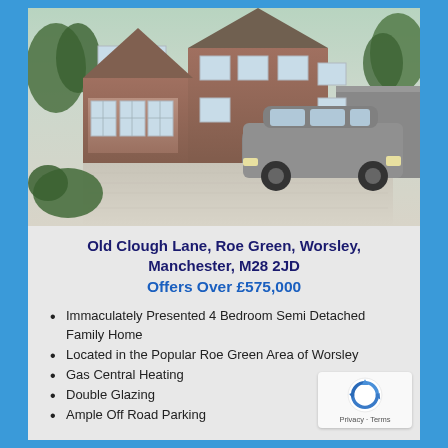[Figure (photo): Exterior photo of a semi-detached brick family home with bay windows, blue front door, large gravel driveway with a grey SUV parked on it, and trees in background.]
Old Clough Lane, Roe Green, Worsley, Manchester, M28 2JD
Offers Over £575,000
Immaculately Presented 4 Bedroom Semi Detached Family Home
Located in the Popular Roe Green Area of Worsley
Gas Central Heating
Double Glazing
Ample Off Road Parking